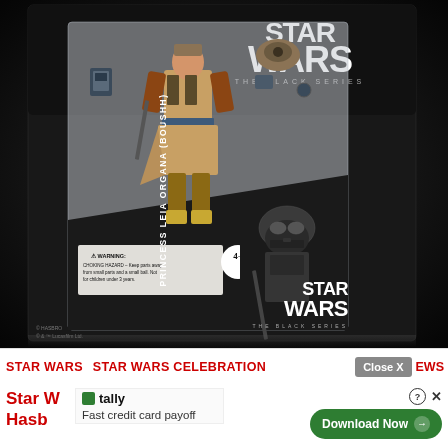[Figure (photo): Star Wars The Black Series Archive - Princess Leia Organa (Boushh) action figure in packaging. Black card with Star Wars logo at top, blister pack showing the figure in tan/brown Boushh disguise outfit with accessories, black and white stormtrooper artwork at bottom. 'Archive' printed vertically on right side. Age 4+ warning label visible.]
STAR WARS   STAR WARS CELEBRATION   Close X EWS
Star W
Hasb
tally  Fast credit card payoff
Download Now →